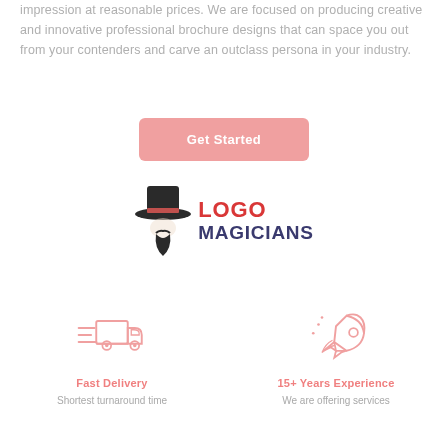impression at reasonable prices. We are focused on producing creative and innovative professional brochure designs that can space you out from your contenders and carve an outclass persona in your industry.
Get Started
[Figure (logo): Logo Magicians brand logo with magician hat and beard icon, LOGO in red, MAGICIANS in dark navy.]
[Figure (illustration): Fast Delivery icon - pink outline delivery truck with motion lines]
Fast Delivery
Shortest turnaround time
[Figure (illustration): 15+ Years Experience icon - pink outline rocket launching]
15+ Years Experience
We are offering services